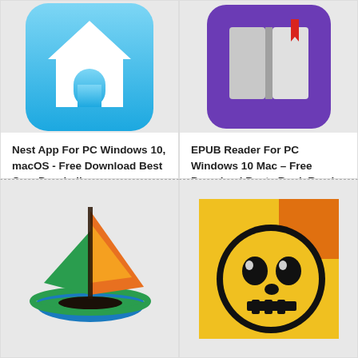[Figure (logo): Nest app icon - white house silhouette on blue gradient rounded square background]
Nest App For PC Windows 10, macOS - Free Download Best Cam Doorbell
[Figure (logo): EPUB Reader app icon - open book with red bookmark on purple rounded square background]
EPUB Reader For PC Windows 10 Mac – Free Download Best eBook Reader
[Figure (logo): Boat Browser icon - colorful sailboat on globe with orange/green/dark colors]
[Figure (logo): Brawl Stars icon - yellow/gold background with black skull face wearing golden ring]